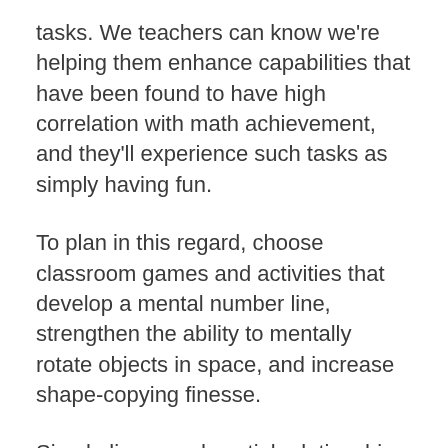tasks. We teachers can know we're helping them enhance capabilities that have been found to have high correlation with math achievement, and they'll experience such tasks as simply having fun.
To plan in this regard, choose classroom games and activities that develop a mental number line, strengthen the ability to mentally rotate objects in space, and increase shape-copying finesse.
Simple linear and spatial relationship tools like finger-counting, linear games like hopscotch, games that put us in spatial relationship to one another like "Mother, May I?" building with blocks, an...